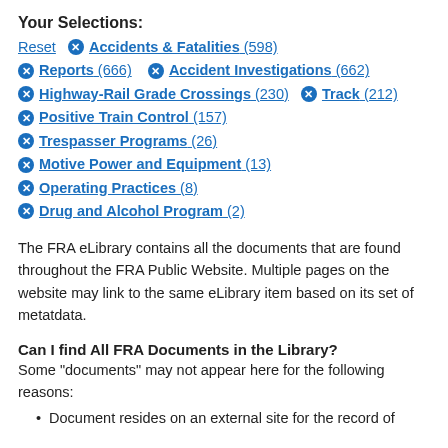Your Selections:
Reset  ✖ Accidents & Fatalities (598)
✖ Reports (666)  ✖ Accident Investigations (662)
✖ Highway-Rail Grade Crossings (230)  ✖ Track (212)
✖ Positive Train Control (157)
✖ Trespasser Programs (26)
✖ Motive Power and Equipment (13)
✖ Operating Practices (8)
✖ Drug and Alcohol Program (2)
The FRA eLibrary contains all the documents that are found throughout the FRA Public Website. Multiple pages on the website may link to the same eLibrary item based on its set of metatdata.
Can I find All FRA Documents in the Library?
Some "documents" may not appear here for the following reasons:
Document resides on an external site for the record of